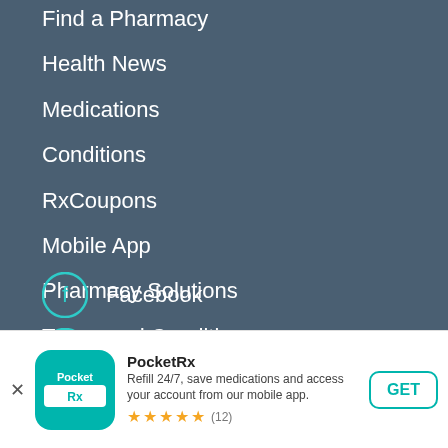Find a Pharmacy
Health News
Medications
Conditions
RxCoupons
Mobile App
Pharmacy Solutions
Terms and Conditions
Privacy Policy
Contact
Facebook
Google Plus
Twitter
[Figure (screenshot): PocketRx app download banner with icon, name, description, star rating (12 reviews), and GET button]
PocketRx
Refill 24/7, save medications and access your account from our mobile app.
★★★★★ (12)
GET